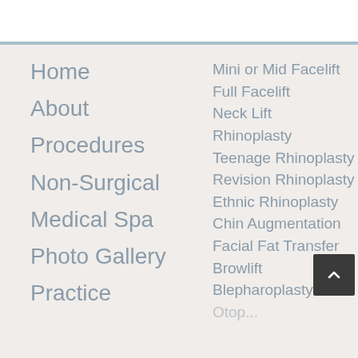Home
About
Procedures
Non-Surgical
Medical Spa
Photo Gallery
Practice
Mini or Mid Facelift
Full Facelift
Neck Lift
Rhinoplasty
Teenage Rhinoplasty
Revision Rhinoplasty
Ethnic Rhinoplasty
Chin Augmentation
Facial Fat Transfer
Browlift
Blepharoplasty
Otoplasty (partial)